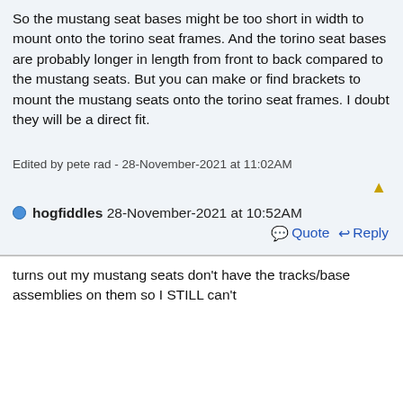So the mustang seat bases might be too short in width to mount onto the torino seat frames. And the torino seat bases are probably longer in length from front to back compared to the mustang seats. But you can make or find brackets to mount the mustang seats onto the torino seat frames. I doubt they will be a direct fit.
Edited by pete rad - 28-November-2021 at 11:02AM
hogfiddles 28-November-2021 at 10:52AM
Quote  Reply
turns out my mustang seats don't have the tracks/base assemblies on them so I STILL can't